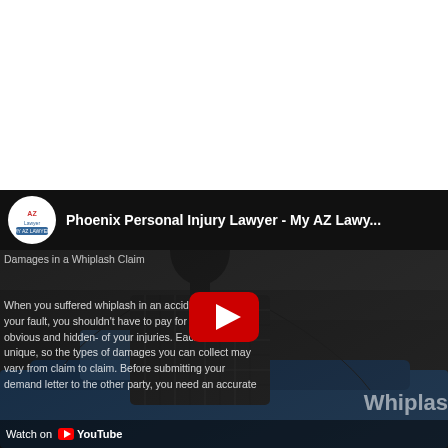[Figure (screenshot): YouTube video embed showing Phoenix Personal Injury Lawyer - My AZ Lawy... channel. Video thumbnail shows a man leaning over a car in a dark scene. Red YouTube play button visible in center. Overlaid text describes whiplash injury claims. 'Watch on YouTube' bar at bottom.]